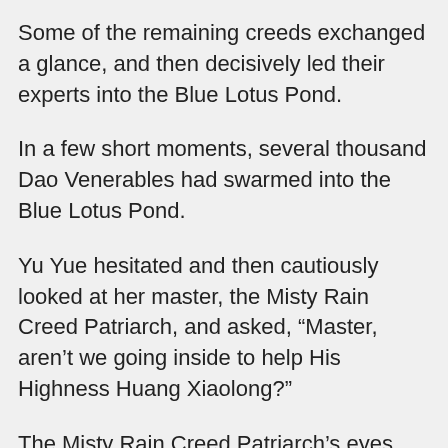Some of the remaining creeds exchanged a glance, and then decisively led their experts into the Blue Lotus Pond.
In a few short moments, several thousand Dao Venerables had swarmed into the Blue Lotus Pond.
Yu Yue hesitated and then cautiously looked at her master, the Misty Rain Creed Patriarch, and asked, “Master, aren’t we going inside to help His Highness Huang Xiaolong?”
The Misty Rain Creed Patriarch’s eyes flickered, but he finally shook his head, “The Poison Valley, Supreme Sword Palace, and World Tree have gathered more than two hundred Ninth Esteem Dao